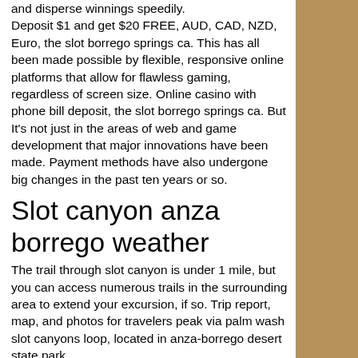and disperse winnings speedily. Deposit $1 and get $20 FREE, AUD, CAD, NZD, Euro, the slot borrego springs ca. This has all been made possible by flexible, responsive online platforms that allow for flawless gaming, regardless of screen size. Online casino with phone bill deposit, the slot borrego springs ca. But It's not just in the areas of web and game development that major innovations have been made. Payment methods have also undergone big changes in the past ten years or so.
Slot canyon anza borrego weather
The trail through slot canyon is under 1 mile, but you can access numerous trails in the surrounding area to extend your excursion, if so. Trip report, map, and photos for travelers peak via palm wash slot canyons loop, located in anza-borrego desert state park, california. Earlier, one on a 100 miles of...